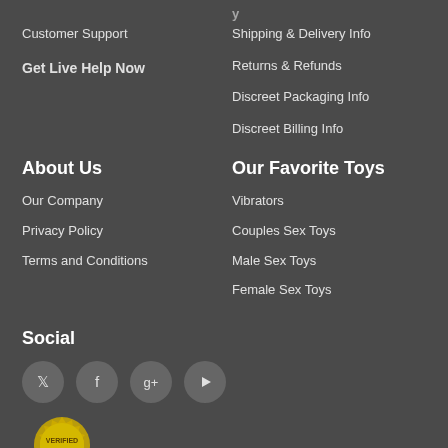Customer Support
Get Live Help Now
Shipping & Delivery Info
Returns & Refunds
Discreet Packaging Info
Discreet Billing Info
About Us
Our Favorite Toys
Our Company
Privacy Policy
Terms and Conditions
Vibrators
Couples Sex Toys
Male Sex Toys
Female Sex Toys
Social
[Figure (illustration): Social media icons: Twitter, Facebook, Google+, YouTube in circular grey buttons]
[Figure (illustration): Verified badge/seal at bottom of page]